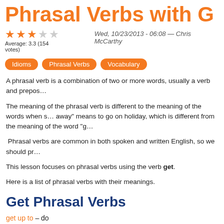Phrasal Verbs with G
Wed, 10/23/2013 - 06:08 — Chris McCarthy
Average: 3.3 (154 votes)
Idioms | Phrasal Verbs | Vocabulary
A phrasal verb is a combination of two or more words, usually a verb and prepos…
The meaning of the phrasal verb is different to the meaning of the words when s… away" means to go on holiday, which is different from the meaning of the word "g…
Phrasal verbs are common in both spoken and written English, so we should pr…
This lesson focuses on phrasal verbs using the verb get.
Here is a list of phrasal verbs with their meanings.
Get Phrasal Verbs
get up to – do
get on with (someone) – have a good relationship